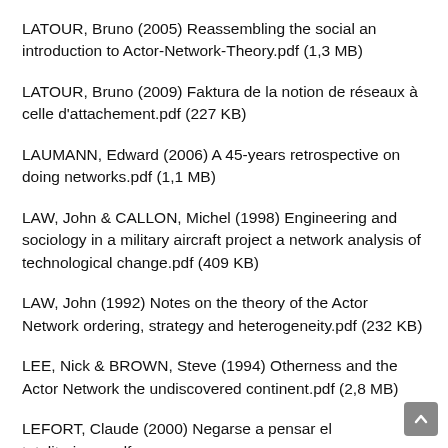LATOUR, Bruno (2005) Reassembling the social an introduction to Actor-Network-Theory.pdf (1,3 MB)
LATOUR, Bruno (2009) Faktura de la notion de réseaux à celle d'attachement.pdf (227 KB)
LAUMANN, Edward (2006) A 45-years retrospective on doing networks.pdf (1,1 MB)
LAW, John & CALLON, Michel (1998) Engineering and sociology in a military aircraft project a network analysis of technological change.pdf (409 KB)
LAW, John (1992) Notes on the theory of the Actor Network ordering, strategy and heterogeneity.pdf (232 KB)
LEE, Nick & BROWN, Steve (1994) Otherness and the Actor Network the undiscovered continent.pdf (2,8 MB)
LEFORT, Claude (2000) Negarse a pensar el totalitarismo.pdf (108 KB)